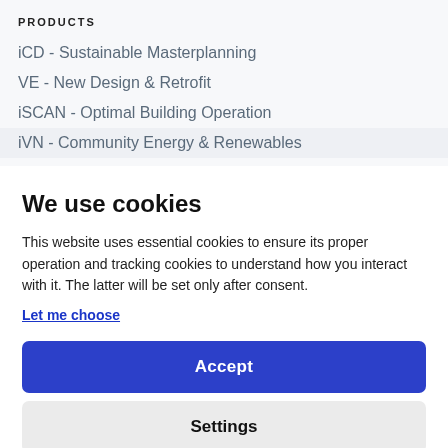PRODUCTS
iCD - Sustainable Masterplanning
VE - New Design & Retrofit
iSCAN - Optimal Building Operation
iVN - Community Energy & Renewables
We use cookies
This website uses essential cookies to ensure its proper operation and tracking cookies to understand how you interact with it. The latter will be set only after consent.
Let me choose
Accept
Settings